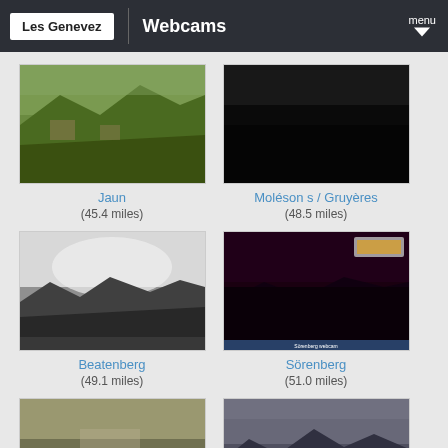Les Genevez | Webcams
[Figure (photo): Webcam image of Jaun - mountain valley with green hills]
Jaun
(45.4 miles)
[Figure (photo): Webcam image of Moléson s / Gruyères - mostly dark/night image]
Moléson s / Gruyères
(48.5 miles)
[Figure (photo): Webcam image of Beatenberg - mountain silhouette with bright sky]
Beatenberg
(49.1 miles)
[Figure (photo): Webcam image of Sörenberg - dark night image with red/pink light]
Sörenberg
(51.0 miles)
[Figure (photo): Webcam image of Schnepfenried - blurry outdoor scene]
Schnepfenried
(51.0 miles)
[Figure (photo): Webcam image of Interlaken - mountain silhouette at dusk]
Interlaken
(52.2 miles)